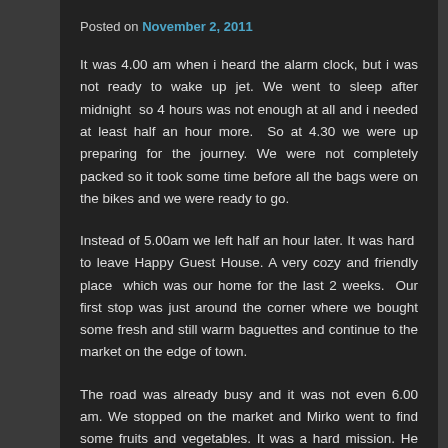Posted on November 2, 2011
It was 4.00 am when i heard the alarm clock, but i was not ready to wake up jet. We went to sleep after midnight  so 4 hours was not enough at all and i needed at least half an hour more.  So at 4.30 we were up preparing for the journey. We were not completely packed so it took some time before all the bags were on the bikes and we were ready to go.
Instead of 5.00am we left half an hour later. It was hard  to leave Happy Guest House. A very cozy and friendly place  which was our home for the last 2 weeks.  Our first stop was just around the corner where we bought some fresh and still warm baguettes and continue to the market on the edge of town.
The road was already busy and it was not even 6.00 am. We stopped on the market and Mirko went to find some fruits and vegetables. It was a hard mission. He had to pass through smelly and muddy part of the market where